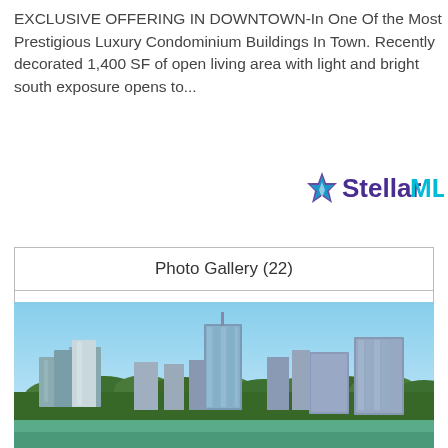EXCLUSIVE OFFERING IN DOWNTOWN-In One Of the Most Prestigious Luxury Condominium Buildings In Town. Recently decorated 1,400 SF of open living area with light and bright south exposure opens to...
[Figure (logo): Stellar MLS logo with blue/purple star icon and two-tone text: 'Stellar' in dark purple and 'MLS' in cyan]
| Photo Gallery (22) |
| Virtual Tour |
| Save Property |
| View Details |
[Figure (photo): Aerial photo of downtown cityscape with tall glass condominium towers surrounded by green tree canopy and a waterway/lake in the foreground under a blue sky]